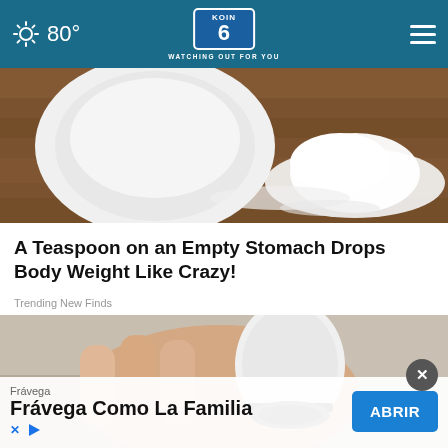80° | KOIN 6 — WATCHING OUT FOR YOU
[Figure (photo): White bowl and spilled white powder (sugar or salt) on a wooden surface, close-up shot]
A Teaspoon on an Empty Stomach Drops Body Weight Like Crazy!
Trending New Finds
[Figure (photo): A hand holding a white dome-shaped smart security camera device against an indoor background]
Frávega
Frávega Como La Familia
ABRIR